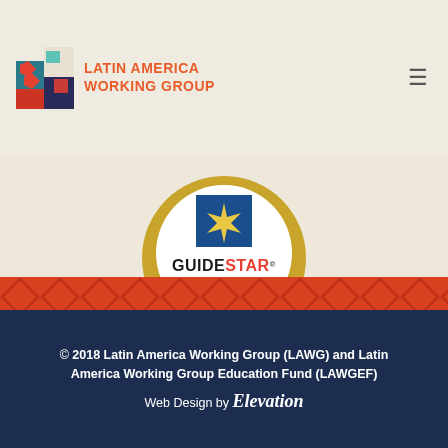[Figure (logo): Latin America Working Group logo with colorful zigzag icon and text in orange uppercase]
[Figure (logo): GuideStar Exchange Gold Participant badge/seal]
© 2018 Latin America Working Group (LAWG) and Latin America Working Group Education Fund (LAWGEF)
Web Design by Elevation